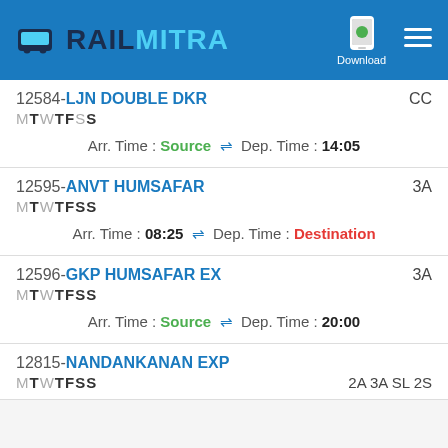RAILMITRA — Download
12584-LJN DOUBLE DKR | MTWTFSS | CC | Arr. Time: Source ⇌ Dep. Time: 14:05
12595-ANVT HUMSAFAR | MTWTFSS | 3A | Arr. Time: 08:25 ⇌ Dep. Time: Destination
12596-GKP HUMSAFAR EX | MTWTFSS | 3A | Arr. Time: Source ⇌ Dep. Time: 20:00
12815-NANDANKANAN EXP | MTWTFSS | 2A 3A SL 2S